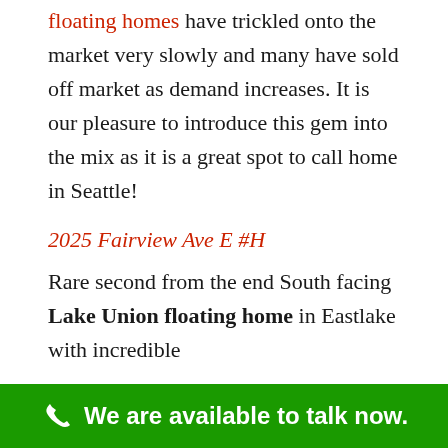floating homes have trickled onto the market very slowly and many have sold off market as demand increases. It is our pleasure to introduce this gem into the mix as it is a great spot to call home in Seattle!
2025 Fairview Ave E #H
Rare second from the end South facing Lake Union floating home in Eastlake with incredible
We are available to talk now.